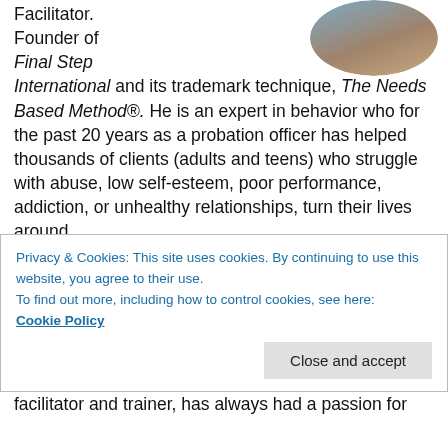[Figure (photo): Circular portrait photo of a person, partially cropped, visible in top-right corner]
Facilitator. Founder of Final Step International and its trademark technique, The Needs Based Method®. He is an expert in behavior who for the past 20 years as a probation officer has helped thousands of clients (adults and teens) who struggle with abuse, low self-esteem, poor performance, addiction, or unhealthy relationships, turn their lives around.
Alina Ugas is a Business and Communication Mentor and Co-founder of Final Step International and its
Privacy & Cookies: This site uses cookies. By continuing to use this website, you agree to their use.
To find out more, including how to control cookies, see here:
Cookie Policy
facilitator and trainer, has always had a passion for